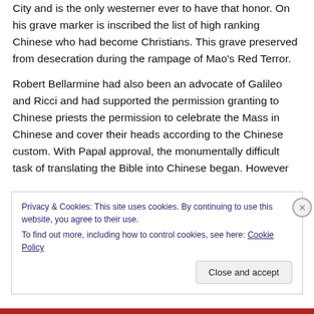City and is the only westerner ever to have that honor. On his grave marker is inscribed the list of high ranking Chinese who had become Christians. This grave preserved from desecration during the rampage of Mao's Red Terror.
Robert Bellarmine had also been an advocate of Galileo and Ricci and had supported the permission granting to Chinese priests the permission to celebrate the Mass in Chinese and cover their heads according to the Chinese custom. With Papal approval, the monumentally difficult task of translating the Bible into Chinese began. However
Privacy & Cookies: This site uses cookies. By continuing to use this website, you agree to their use.
To find out more, including how to control cookies, see here: Cookie Policy
Close and accept